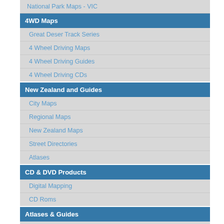National Park Maps - VIC
4WD Maps
Great Deser Track Series
4 Wheel Driving Maps
4 Wheel Driving Guides
4 Wheel Driving CDs
New Zealand and Guides
City Maps
Regional Maps
New Zealand Maps
Street Directories
Atlases
CD & DVD Products
Digital Mapping
CD Roms
Atlases & Guides
Road Atlases
Touring & Recreational Guides
Map & Plan Measuring
Plan Wheel
Map Wheel
Links
Terms and conditions